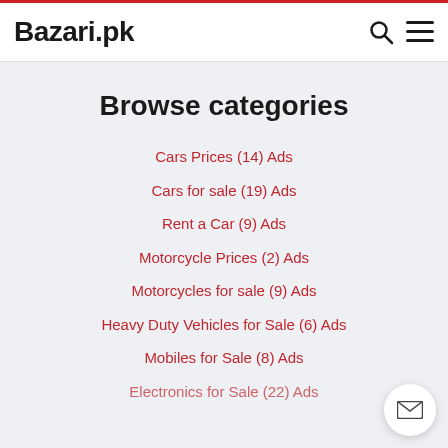Bazari.pk
Browse categories
Cars Prices (14) Ads
Cars for sale (19) Ads
Rent a Car (9) Ads
Motorcycle Prices (2) Ads
Motorcycles for sale (9) Ads
Heavy Duty Vehicles for Sale (6) Ads
Mobiles for Sale (8) Ads
Electronics for Sale (22) Ads